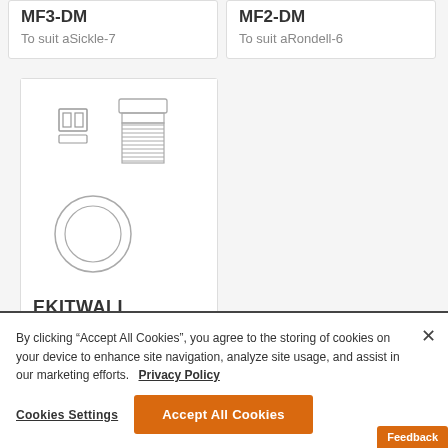MF3-DM
To suit aSickle-7
MF2-DM
To suit aRondell-6
[Figure (illustration): Engineering diagram showing cable gland / wall entry kit components: two rectangular clips shown from top, one large threaded cylindrical fitting, and one circular gasket/ring]
EKITWALL
By clicking “Accept All Cookies”, you agree to the storing of cookies on your device to enhance site navigation, analyze site usage, and assist in our marketing efforts.  Privacy Policy
Cookies Settings
Accept All Cookies
Feedback